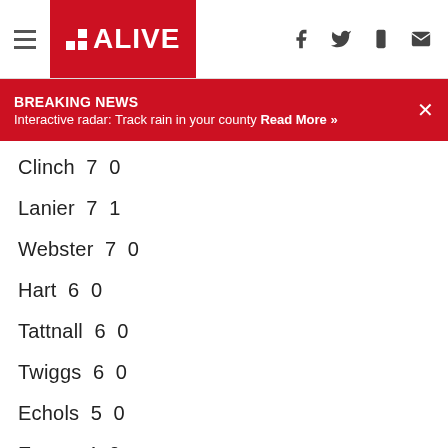11 ALIVE
BREAKING NEWS
Interactive radar: Track rain in your county Read More »
Clinch   7   0
Lanier   7   1
Webster   7   0
Hart   6   0
Tattnall   6   0
Twiggs   6   0
Echols   5   0
Evans   4   0
Mcintosh   4   0